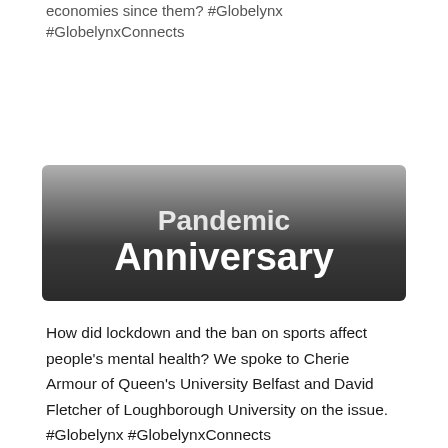economies since then? #Globelynx #GlobelynxConnects
[Figure (illustration): Dark gradient banner image with white bold text reading 'Pandemic Anniversary']
How did lockdown and the ban on sports affect people's mental health? We spoke to Cherie Armour of Queen's University Belfast and David Fletcher of Loughborough University on the issue. #Globelynx #GlobelynxConnects